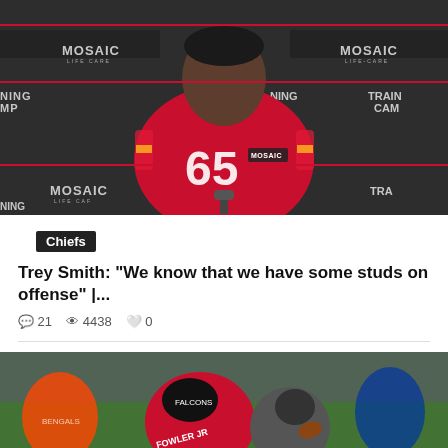[Figure (photo): NFL player wearing Kansas City Chiefs red jersey number 65 at a training camp press conference, with MOSAIC Life Care branding on the backdrop and jersey]
Chiefs
Trey Smith: "We know that we have some studs on offense" |...
21  4438  0
[Figure (photo): Atlanta Falcons player Fowler Jr. (#95/56) making a tackle during an NFL game on a green field]